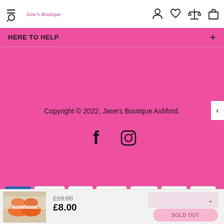Jane's Boutique
HERE TO HELP +
Copyright © 2022, Jane's Boutique Ashford.
[Figure (other): Facebook and Instagram social media icons]
[Figure (other): Payment method badges: AMEX, Apple Pay, Diners, Discover, G Pay, Maestro, Mastercard, PayPal, OPay, VISA]
[Figure (photo): Product image of orange/white shoes]
£18.00
£8.00
SOLD OUT